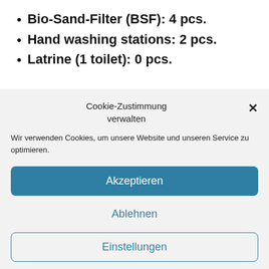Bio-Sand-Filter (BSF): 4 pcs.
Hand washing stations: 2 pcs.
Latrine (1 toilet): 0 pcs.
Cookie-Zustimmung verwalten
Wir verwenden Cookies, um unsere Website und unseren Service zu optimieren.
Akzeptieren
Ablehnen
Einstellungen
Cookie-Richtlinie  Privacy  Site notice